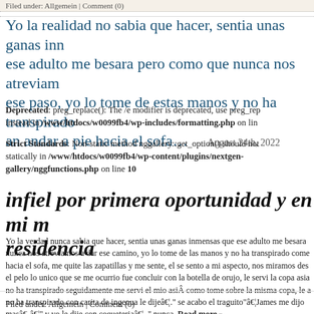Filed under: Allgemein | Comment (0)
Yo la realidad no sabia que hacer, sentia unas ganas inn ese adulto me besara pero como que nunca nos atreviam ese paso, yo lo tome de estas manos y no ha transpirado an andar a pie hacia el sofa… August 24th, 2022
Deprecated: preg_replace(): The /e modifier is deprecated, use preg_rep instead in /www/htdocs/w0099fb4/wp-includes/formatting.php on lin
Strict Standards: Non-static method nggallery::get_option() should not be called statically in /www/htdocs/w0099fb4/wp-content/plugins/nextgen-gallery/nggfunctions.php on line 10
infiel por primera oportunidad y en mi m residencia
Yo la verdad nunca sabia que hacer, sentia unas ganas inmensas que ese adulto me besara nunca nos atreviamos a dar ese camino, yo lo tome de las manos y no ha transpirado come hacia el sofa, me quite las zapatillas y me sente, el se sento a mi aspecto, nos miramos des el pelo lo unico que se me ocurrio fue concluir con la botella de orujo, le servi la copa asia no ha transpirado seguidamente me servi el mio asiÂ como tome sobre la misma copa, le a no ha transpirado con carita de ingenua le dijeâ€¦" se acabo el traguito"â€¦James me dijo masâ€¸â€¦" y yo le dije con coqueteriaâ€¦.." nunca. Read more »
Filed under: Allgemein | Comment (0)